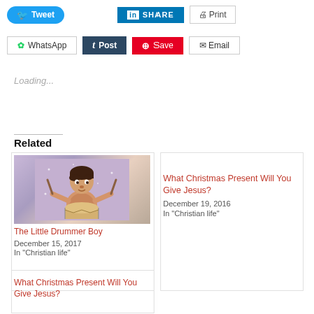[Figure (screenshot): Social sharing buttons row 1: Tweet (Twitter blue), Share (LinkedIn blue), Print (grey outline)]
[Figure (screenshot): Social sharing buttons row 2: WhatsApp (outline), Post (Tumblr dark), Save (Pinterest red), Email (outline)]
Loading...
Related
[Figure (illustration): Illustration of the Little Drummer Boy cartoon character holding drumsticks]
The Little Drummer Boy
December 15, 2017
In "Christian life"
What Christmas Present Will You Give Jesus?
December 19, 2016
In "Christian life"
What Christmas Present Will You Give Jesus?